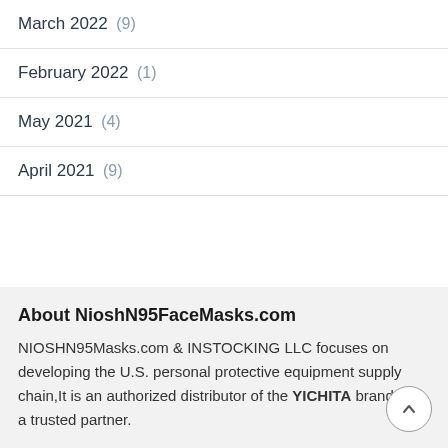March 2022 (9)
February 2022 (1)
May 2021 (4)
April 2021 (9)
About NioshN95FaceMasks.com
NIOSHN95Masks.com & INSTOCKING LLC focuses on developing the U.S. personal protective equipment supply chain,It is an authorized distributor of the YICHITA brand and a trusted partner.